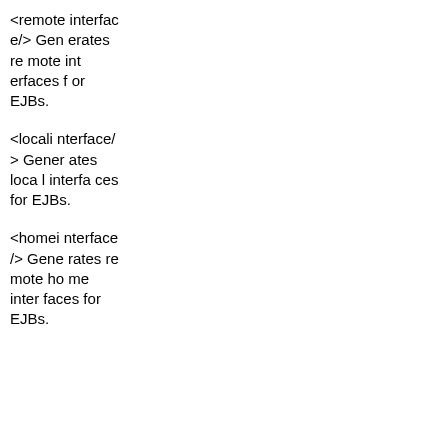<remoteinterface/> Generates remote interfaces for EJBs.
<localinterface/> Generates local interfaces for EJBs.
<homeinterface/> Generates remote home interfaces for EJBs.